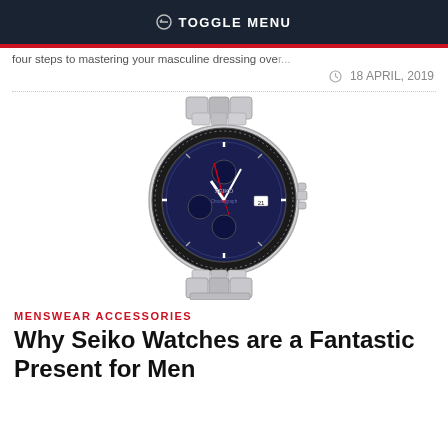TOGGLE MENU
...four steps to mastering your masculine dressing over...
18 APRIL, 2019
[Figure (photo): Seiko chronograph watch with black dial, stainless steel bracelet, and aviation-style bezel]
MENSWEAR ACCESSORIES
Why Seiko Watches are a Fantastic Present for Men
...